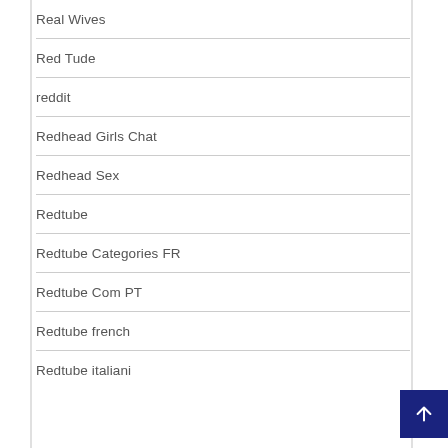Real Wives
Red Tude
reddit
Redhead Girls Chat
Redhead Sex
Redtube
Redtube Categories FR
Redtube Com PT
Redtube french
Redtube italiani